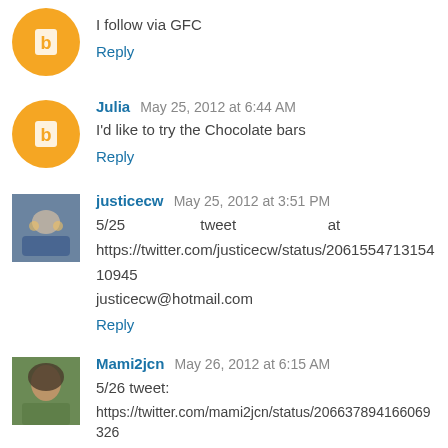I follow via GFC
Reply
Julia May 25, 2012 at 6:44 AM
I'd like to try the Chocolate bars
Reply
justicecw May 25, 2012 at 3:51 PM
5/25 tweet at https://twitter.com/justicecw/status/206155471315410945 justicecw@hotmail.com
Reply
Mami2jcn May 26, 2012 at 6:15 AM
5/26 tweet:
https://twitter.com/mami2jcn/status/206637894166069326